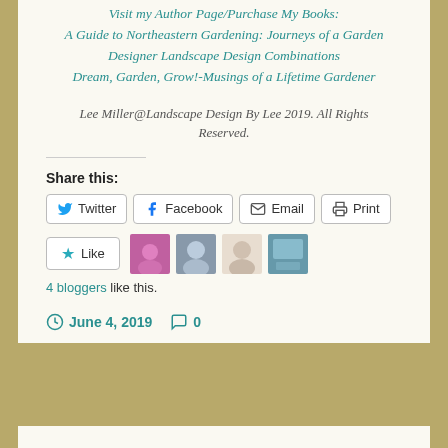Visit my Author Page/Purchase My Books:
A Guide to Northeastern Gardening: Journeys of a Garden Designer Landscape Design Combinations
Dream, Garden, Grow!-Musings of a Lifetime Gardener
Lee Miller@Landscape Design By Lee 2019. All Rights Reserved.
Share this:
[Figure (screenshot): Social sharing buttons: Twitter, Facebook, Email, Print]
[Figure (screenshot): Like button with star icon and 4 blogger avatars]
4 bloggers like this.
June 4, 2019  0